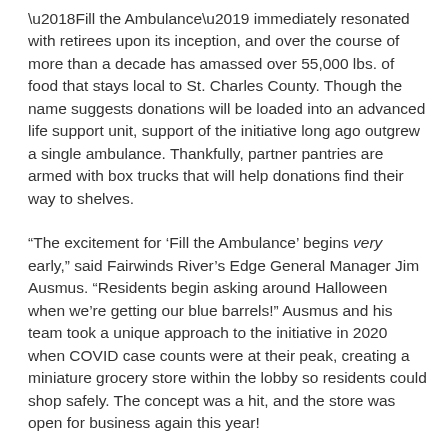'Fill the Ambulance' immediately resonated with retirees upon its inception, and over the course of more than a decade has amassed over 55,000 lbs. of food that stays local to St. Charles County. Though the name suggests donations will be loaded into an advanced life support unit, support of the initiative long ago outgrew a single ambulance. Thankfully, partner pantries are armed with box trucks that will help donations find their way to shelves.
“The excitement for ‘Fill the Ambulance’ begins very early,” said Fairwinds River’s Edge General Manager Jim Ausmus. “Residents begin asking around Halloween when we’re getting our blue barrels!” Ausmus and his team took a unique approach to the initiative in 2020 when COVID case counts were at their peak, creating a miniature grocery store within the lobby so residents could shop safely. The concept was a hit, and the store was open for business again this year!